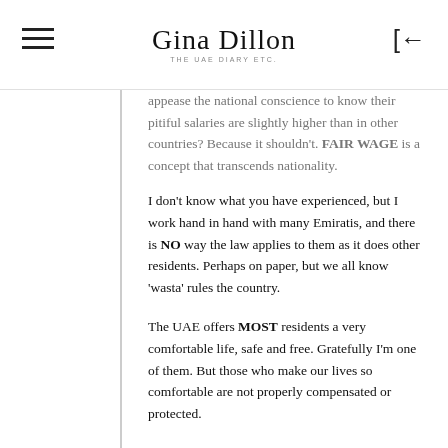Gina Dillon — The UAE Diary etc.
appease the national conscience to know their pitiful salaries are slightly higher than in other countries? Because it shouldn't. FAIR WAGE is a concept that transcends nationality.
I don't know what you have experienced, but I work hand in hand with many Emiratis, and there is NO way the law applies to them as it does other residents. Perhaps on paper, but we all know 'wasta' rules the country.
The UAE offers MOST residents a very comfortable life, safe and free. Gratefully I'm one of them. But those who make our lives so comfortable are not properly compensated or protected.